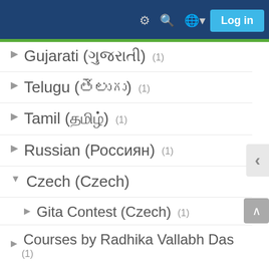Log in
Gujarati (ગુજરાતી) (1)
Telugu (తెలుగు) (1)
Tamil (தமிழ்) (1)
Russian (Россиян) (1)
Czech (Czech)
Gita Contest (Czech) (1)
Courses by Radhika Vallabh Das (1)
Srimad Bhagavatam (Revised)